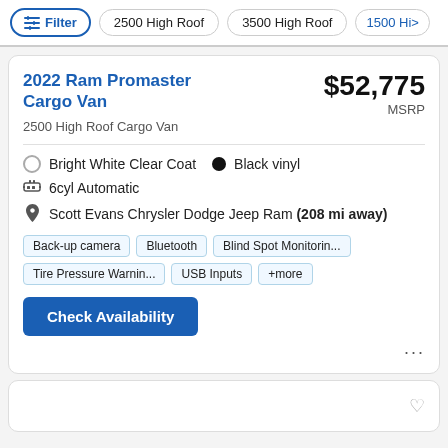Filter | 2500 High Roof | 3500 High Roof | 1500 Hi>
2022 Ram Promaster Cargo Van
$52,775 MSRP
2500 High Roof Cargo Van
Bright White Clear Coat  •  Black vinyl
6cyl Automatic
Scott Evans Chrysler Dodge Jeep Ram (208 mi away)
Back-up camera  Bluetooth  Blind Spot Monitorin...  Tire Pressure Warnin...  USB Inputs  +more
Check Availability